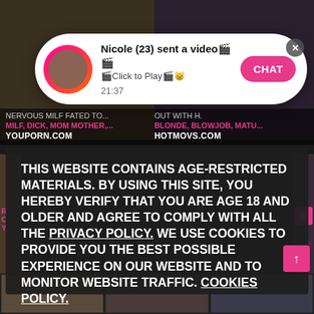[Figure (screenshot): A webpage screenshot showing adult video thumbnails in the background, overlaid by a chat/dating app notification popup saying 'Nicole (23) sent a video' with a CHAT button, and a dark age-restriction/cookie consent overlay with text about age-restricted materials and privacy policy.]
Nicole (23) sent a video🎬🎬
🎬Click to Play🎬😸
21:37
CHAT
NERVOUS MILF FATED TO... ... OUT WITH H.
MILF, DICK, MOM MOTHER,... BLONDE, BLOWJOB, MATU...
YOUPORN.COM HOTMOVS.COM
THIS WEBSITE CONTAINS AGE-RESTRICTED MATERIALS. BY USING THIS SITE, YOU HEREBY VERIFY THAT YOU ARE AGE 18 AND OLDER AND AGREE TO COMPLY WITH ALL THE PRIVACY POLICY. WE USE COOKIES TO PROVIDE YOU THE BEST POSSIBLE EXPERIENCE ON OUR WEBSITE AND TO MONITOR WEBSITE TRAFFIC. COOKIES POLICY.